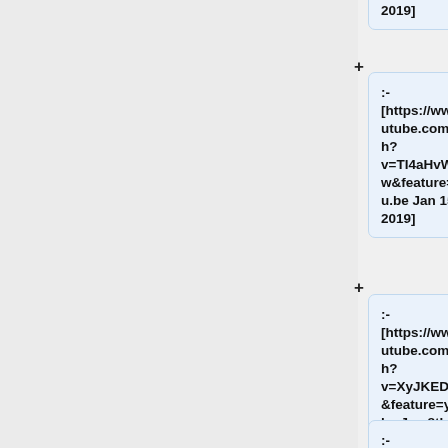2019]
:- [https://www.youtube.com/watch?v=TI4aHvWLc4w&feature=youtu.be Jan 15th, 2019]
:- [https://www.youtube.com/watch?v=XyJKEDu8cjo&feature=youtu.be Jan 8th, 2019]
:- [https://www.youtube.com/watch?